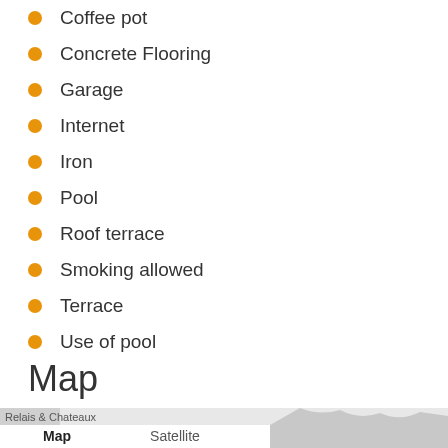Coffee pot
Concrete Flooring
Garage
Internet
Iron
Pool
Roof terrace
Smoking allowed
Terrace
Use of pool
Map
[Figure (map): Google map showing location of Nefeli & Nafsika Houses, with Map/Satellite toggle tabs and expand icon. Relais & Chateaux label visible on map.]